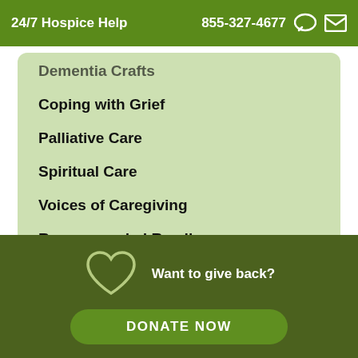24/7 Hospice Help   855-327-4677
Dementia Crafts
Coping with Grief
Palliative Care
Spiritual Care
Voices of Caregiving
Recommended Reading
Want to give back?
DONATE NOW